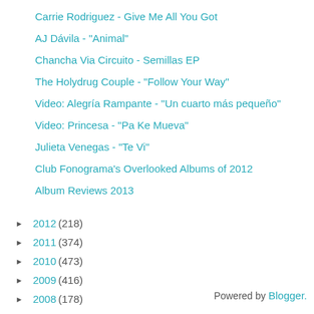Carrie Rodriguez - Give Me All You Got
AJ Dávila - "Animal"
Chancha Via Circuito - Semillas EP
The Holydrug Couple - "Follow Your Way"
Video: Alegría Rampante - "Un cuarto más pequeño"
Video: Princesa - "Pa Ke Mueva"
Julieta Venegas - "Te Vi"
Club Fonograma's Overlooked Albums of 2012
Album Reviews 2013
► 2012 (218)
► 2011 (374)
► 2010 (473)
► 2009 (416)
► 2008 (178)
Powered by Blogger.